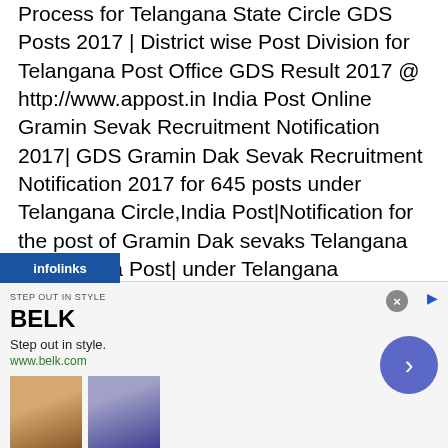Process for Telangana State Circle GDS Posts 2017 | District wise Post Division for Telangana Post Office GDS Result 2017 @ http://www.appost.in India Post Online Gramin Sevak Recruitment Notification 2017| GDS Gramin Dak Sevak Recruitment Notification 2017 for 645 posts under Telangana Circle,India Post|Notification for the post of Gramin Dak sevaks Telangana Circle India Post| under Telangana Circle,India Post Recruitment Notification 2017 for GDS Gramin Dak Sevak| GDS Gramin Dak Sevak Recruitment 2017 Notification ,eligibility, EDUCATIONAL QUALIFICATION,SELECTION CRITERIA , Registration,How to apply,Payment,Online Application @ http://appost.in/gdsonline/Home.aspx|gds-gramin-
[Figure (screenshot): Infolinks advertisement bar overlay and BELK banner advertisement showing two product images, brand name BELK, tagline 'Step out in style.', URL www.belk.com, and a navigation arrow button]